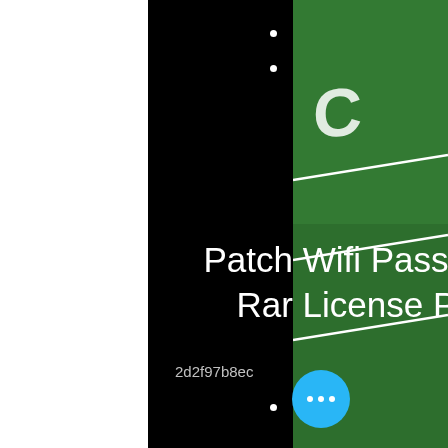[Figure (screenshot): Screenshot of a social media post with black background in center, white area on left, and green football field on right. Contains bullet points at top, main title text, a hash code, another bullet at bottom, and a cyan circular FAB button with three dots.]
Patch Wifi Password Hack V2.1 R Rar License Professional X32
2d2f97b8ec